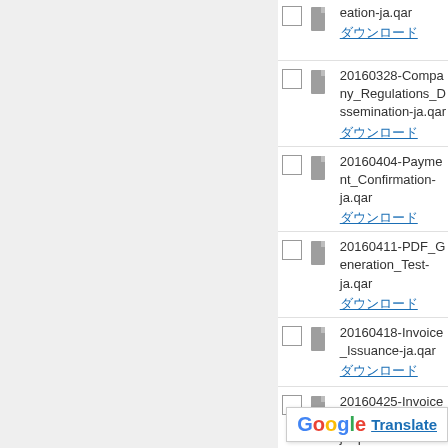eation-ja.qar
ダウンロード
20160328-Company_Regulations_Dissemination-ja.qar
ダウンロード
20160404-Payment_Confirmation-ja.qar
ダウンロード
20160411-PDF_Generation_Test-ja.qar
ダウンロード
20160418-Invoice_Issuance-ja.qar
ダウンロード
20160425-Invoice_Issuance-Check-ja.qar
ダウンロード
2... m-